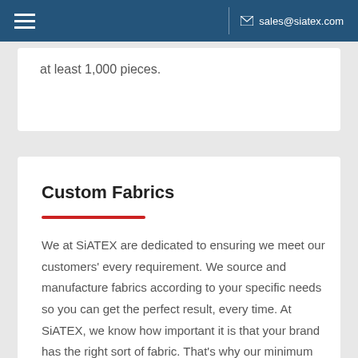sales@siatex.com
at least 1,000 pieces.
Custom Fabrics
We at SiATEX are dedicated to ensuring we meet our customers' every requirement. We source and manufacture fabrics according to your specific needs so you can get the perfect result, every time. At SiATEX, we know how important it is that your brand has the right sort of fabric. That's why our minimum order quantity is only 3000 pieces each fabric type for